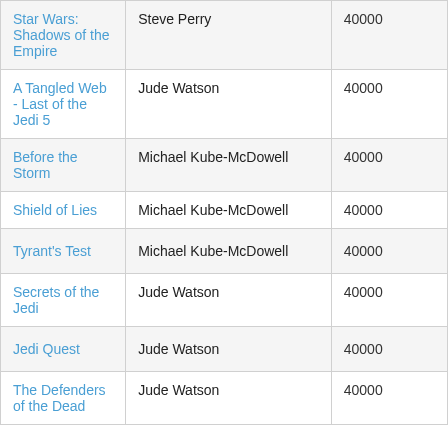| Title | Author | Words |
| --- | --- | --- |
| Star Wars: Shadows of the Empire | Steve Perry | 40000 |
| A Tangled Web - Last of the Jedi 5 | Jude Watson | 40000 |
| Before the Storm | Michael Kube-McDowell | 40000 |
| Shield of Lies | Michael Kube-McDowell | 40000 |
| Tyrant's Test | Michael Kube-McDowell | 40000 |
| Secrets of the Jedi | Jude Watson | 40000 |
| Jedi Quest | Jude Watson | 40000 |
| The Defenders of the Dead | Jude Watson | 40000 |